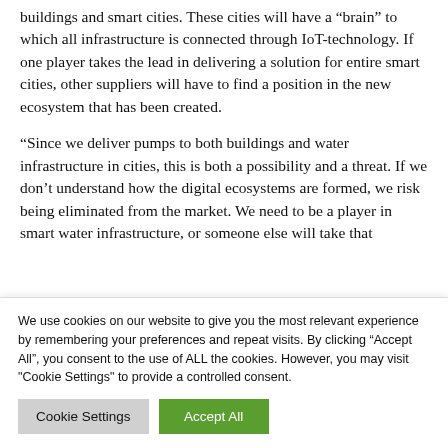buildings and smart cities. These cities will have a “brain” to which all infrastructure is connected through IoT-technology. If one player takes the lead in delivering a solution for entire smart cities, other suppliers will have to find a position in the new ecosystem that has been created.
“Since we deliver pumps to both buildings and water infrastructure in cities, this is both a possibility and a threat. If we don’t understand how the digital ecosystems are formed, we risk being eliminated from the market. We need to be a player in smart water infrastructure, or someone else will take that
We use cookies on our website to give you the most relevant experience by remembering your preferences and repeat visits. By clicking “Accept All”, you consent to the use of ALL the cookies. However, you may visit "Cookie Settings" to provide a controlled consent.